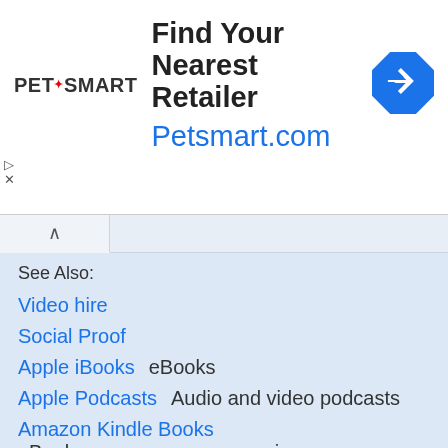[Figure (other): PetSmart advertisement banner: logo on left, 'Find Your Nearest Retailer' in bold black text, 'Petsmart.com' in blue text, blue diamond navigation icon on right]
See Also:
Video hire
Social Proof
Apple iBooks    eBooks
Apple Podcasts    Audio and video podcasts
Amazon Kindle Books    eBooks, newspapers, magazines
Google Play Books    eBooks, magazines